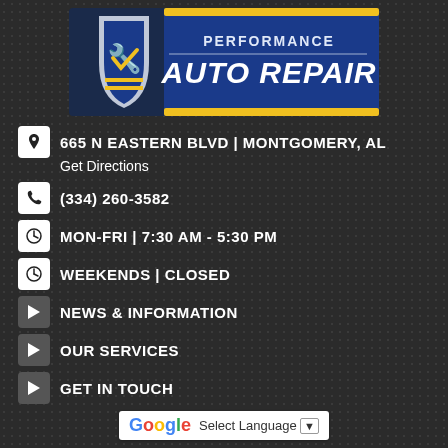[Figure (logo): Performance Auto Repair logo with shield icon and yellow/blue graphic design]
665 N EASTERN BLVD | MONTGOMERY, AL
Get Directions
(334) 260-3582
MON-FRI | 7:30 AM - 5:30 PM
WEEKENDS | CLOSED
NEWS & INFORMATION
OUR SERVICES
GET IN TOUCH
Select Language